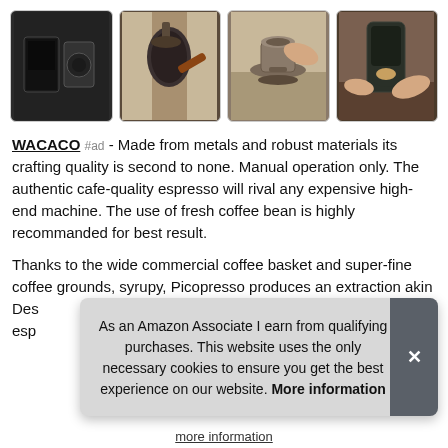[Figure (photo): Four product images of Wacaco Picopresso espresso maker in a horizontal gallery row]
WACACO #ad - Made from metals and robust materials its crafting quality is second to none. Manual operation only. The authentic cafe-quality espresso will rival any expensive high-end machine. The use of fresh coffee bean is highly recommanded for best result.
Thanks to the wide commercial coffee basket and super-fine coffee grounds, syrupy, Picopresso produces an extraction akin... Des... esp...
As an Amazon Associate I earn from qualifying purchases. This website uses the only necessary cookies to ensure you get the best experience on our website. More information
more information